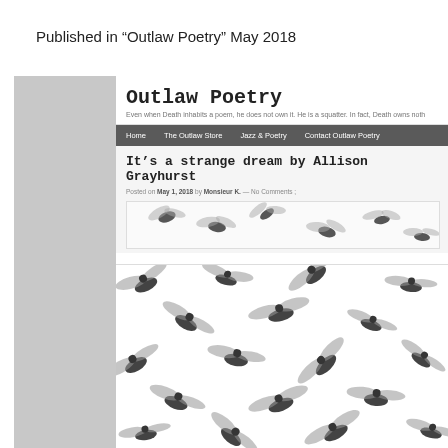Published in “Outlaw Poetry” May 2018
[Figure (screenshot): Screenshot of the Outlaw Poetry website showing the site header with title 'Outlaw Poetry', tagline, navigation bar with Home, The Outlaw Store, Jazz & Poetry, Contact Outlaw Poetry, and a blog post titled 'It’s a strange dream by Allison Grayhurst' posted on May 1, 2018 by Monsieur K., with a photo of flies scattered on a white background.]